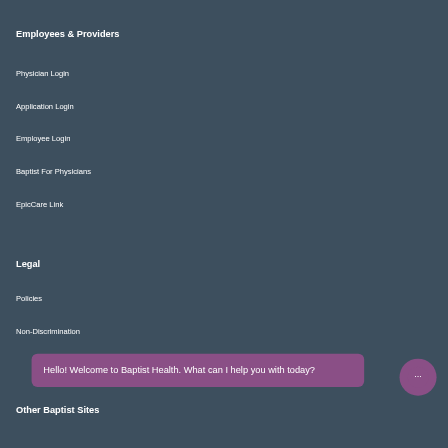Employees & Providers
Physician Login
Application Login
Employee Login
Baptist For Physicians
EpicCare Link
Legal
Policies
Non-Discrimination
Hello! Welcome to Baptist Health. What can I help you with today?
Other Baptist Sites